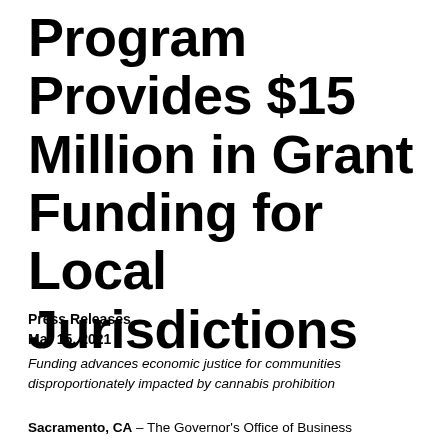Program Provides $15 Million in Grant Funding for Local Jurisdictions
Press Releases
Mar 15, 2021
Funding advances economic justice for communities disproportionately impacted by cannabis prohibition
Sacramento, CA – The Governor's Office of Business